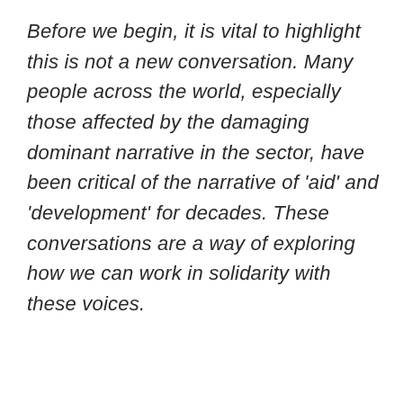Before we begin, it is vital to highlight this is not a new conversation. Many people across the world, especially those affected by the damaging dominant narrative in the sector, have been critical of the narrative of 'aid' and 'development' for decades. These conversations are a way of exploring how we can work in solidarity with these voices.